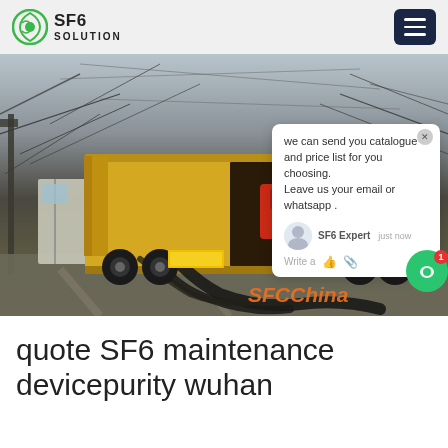SF6 SOLUTION
[Figure (photo): Yellow maintenance truck with open rear doors revealing equipment inside, parked at an electrical substation with overhead power lines and structures. A chat popup overlay shows 'we can send you catalogue and price list for you choosing. Leave us your email or whatsapp.' with SF6 Expert agent. SFCChina watermark in orange at bottom right.]
quote SF6 maintenance devicepurity wuhan